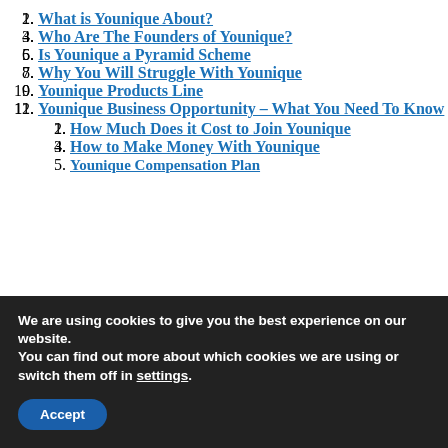1. What is Younique About?
2. Who Are The Founders of Younique?
3. Is Younique a Pyramid Scheme
4. Why You Will Struggle With Younique
5. Younique Products Line
6. Younique Business Opportunity – What You Need To Know
6.1. How Much Does it Cost to Join Younique
6.2. How to Make Money With Younique
6.3. Younique Compensation Plan (truncated/partially visible)
We are using cookies to give you the best experience on our website.
You can find out more about which cookies we are using or switch them off in settings.
Accept